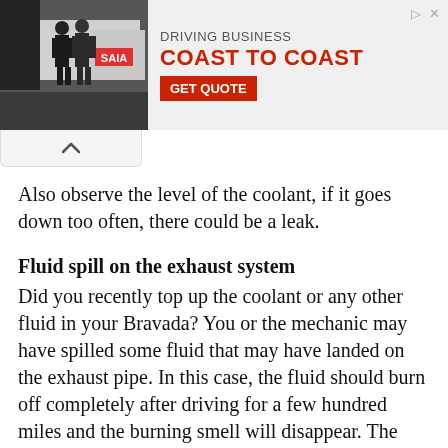[Figure (screenshot): Advertisement banner for Saia freight: image of two people near a semi truck with text 'DRIVING BUSINESS COAST TO COAST' and a red 'GET QUOTE' button]
Also observe the level of the coolant, if it goes down too often, there could be a leak.
Fluid spill on the exhaust system
Did you recently top up the coolant or any other fluid in your Bravada? You or the mechanic may have spilled some fluid that may have landed on the exhaust pipe. In this case, the fluid should burn off completely after driving for a few hundred miles and the burning smell will disappear. The coolant should burn off pretty quickly, since its